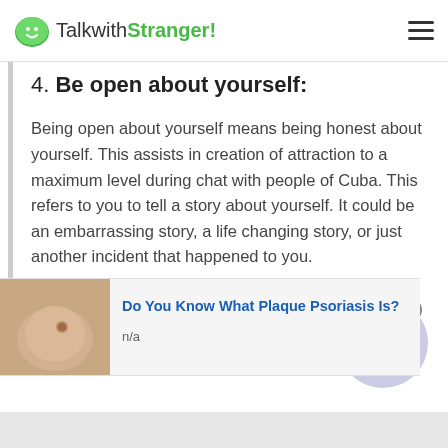TalkwithStranger!
4. Be open about yourself:
Being open about yourself means being honest about yourself. This assists in creation of attraction to a maximum level during chat with people of Cuba. This refers to you to tell a story about yourself. It could be an embarrassing story, a life changing story, or just another incident that happened to you.
You must be wondering how come by telling a story you can attract an audience to yourself. Well, the
[Figure (screenshot): Advertisement banner: skin image with text 'Do You Know What Plaque Psoriasis Is?' and 'n/a']